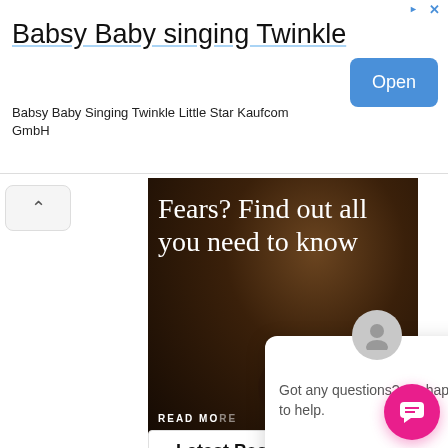[Figure (screenshot): Advertisement banner for 'Babsy Baby singing Twinkle' app by Kaufcom GmbH with Open button]
Babsy Baby singing Twinkle
Babsy Baby Singing Twinkle Little Star Kaufcom GmbH
[Figure (photo): Dark background pregnancy/baby image with white serif text overlay reading 'Fears? Find out all you need to know' and 'READ MORE']
Fears? Find out all you need to know
READ MORE
[Figure (screenshot): Chat popup with avatar icon, close button, and message 'Got any questions? I'm happy to help.']
Got any questions? I'm happy to help.
>> Latest Posts
Taste2Fame: Win N10m